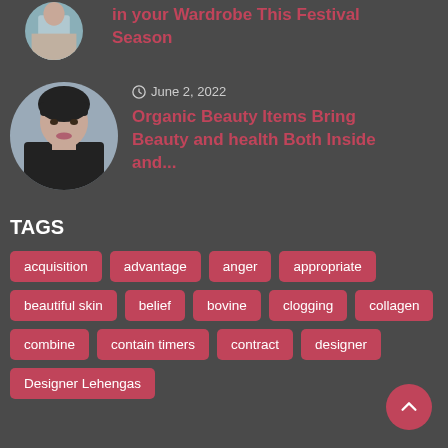in your Wardrobe This Festival Season
[Figure (photo): Circular avatar photo of a person, partially visible at top]
June 2, 2022
Organic Beauty Items Bring Beauty and health Both Inside and...
[Figure (photo): Circular avatar photo of a young woman with dark hair and bangs]
TAGS
acquisition
advantage
anger
appropriate
beautiful skin
belief
bovine
clogging
collagen
combine
contain timers
contract
designer
Designer Lehengas